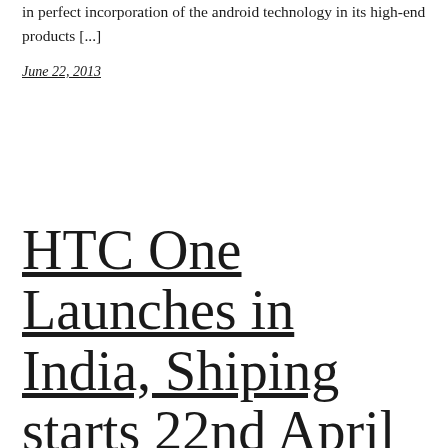in perfect incorporation of the android technology in its high-end products [...]
June 22, 2013
HTC One Launches in India, Shiping starts 22nd April